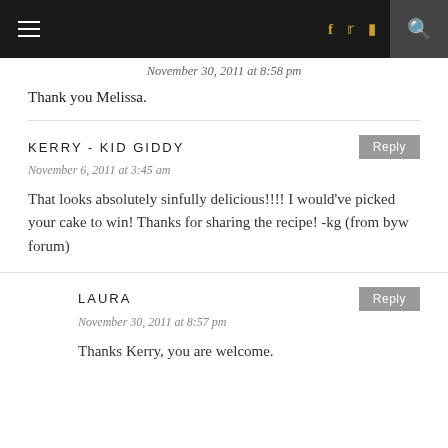≡  f  🐦  📷   pinterest  ♥   🔍
November 30, 2011 at 8:58 pm
Thank you Melissa.
KERRY - KID GIDDY
November 6, 2011 at 3:45 am
That looks absolutely sinfully delicious!!!! I would've picked your cake to win! Thanks for sharing the recipe! -kg (from byw forum)
LAURA
November 30, 2011 at 8:57 pm
Thanks Kerry, you are welcome.